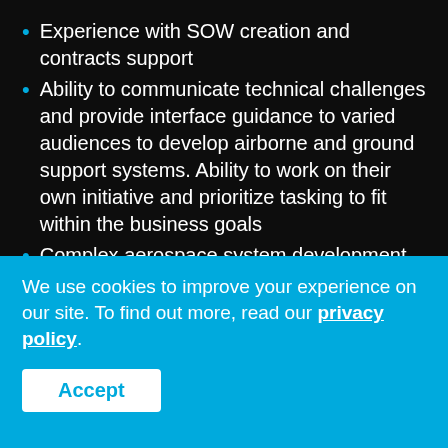Experience with SOW creation and contracts support
Ability to communicate technical challenges and provide interface guidance to varied audiences to develop airborne and ground support systems. Ability to work on their own initiative and prioritize tasking to fit within the business goals
Complex aerospace system development
Ability to quickly adapt to changing priorities
Preferred
Engineering or technical degree
We use cookies to improve your experience on our site. To find out more, read our privacy policy.
Accept